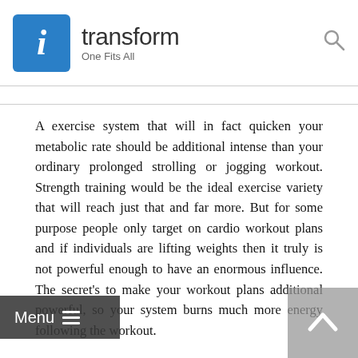[Figure (logo): iTransform logo with blue box containing italic 'i', brand name 'transform', and tagline 'One Fits All']
itransform — One Fits All
A exercise system that will in fact quicken your metabolic rate should be additional intense than your ordinary prolonged strolling or jogging workout. Strength training would be the ideal exercise variety that will reach just that and far more. But for some purpose people only target on cardio workout plans and if individuals are lifting weights then it truly is not powerful enough to have an enormous influence. The secret's to make your workout plans additional powerful, so your system burns much more energy following the workout.
Strength training can raise your metabolic fee by 15%, this tends to offer you a really large gain. Certainly the more muscle mass you build the more calories your entire body burns. Even just one pound of muscle that may be additional can melt away close to fifty calories a day. It's genuinely unusual that some folks are fearful about acquiring